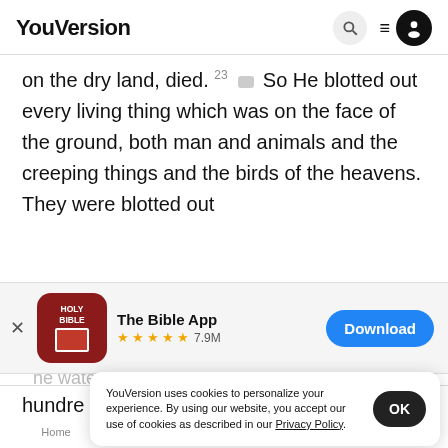YouVersion
on the dry land, died. 23 So He blotted out every living thing which was on the face of the ground, both man and animals and the creeping things and the birds of the heavens. They were blotted out
[Figure (screenshot): App store banner for The Bible App with red icon, 5-star rating 7.9M, and blue Download button]
he waters prevailed on the earth for on
hundre
YouVersion uses cookies to personalize your experience. By using our website, you accept our use of cookies as described in our Privacy Policy.
Home   Bible   Plans   Videos